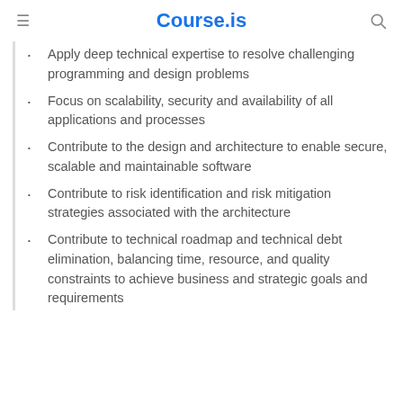Course.is
Apply deep technical expertise to resolve challenging programming and design problems
Focus on scalability, security and availability of all applications and processes
Contribute to the design and architecture to enable secure, scalable and maintainable software
Contribute to risk identification and risk mitigation strategies associated with the architecture
Contribute to technical roadmap and technical debt elimination, balancing time, resource, and quality constraints to achieve business and strategic goals and requirements